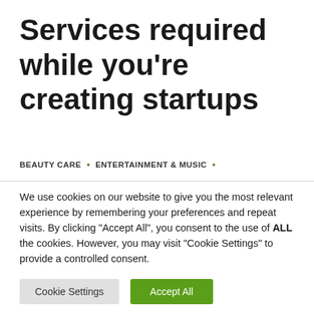Services required while you're creating startups
BEAUTY CARE  •  ENTERTAINMENT & MUSIC  •
We use cookies on our website to give you the most relevant experience by remembering your preferences and repeat visits. By clicking "Accept All", you consent to the use of ALL the cookies. However, you may visit "Cookie Settings" to provide a controlled consent.
Cookie Settings | Accept All